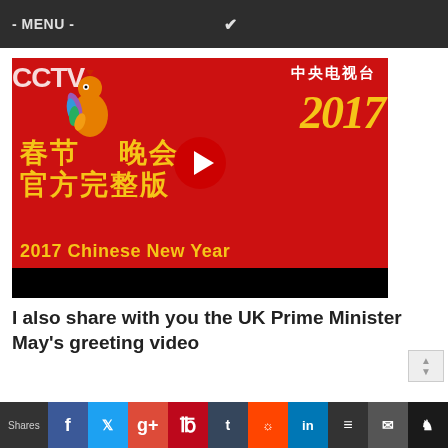- MENU -
[Figure (screenshot): YouTube video thumbnail for 2017 Chinese New Year CCTV special on red background with Chinese characters 春节联欢晚会 官方完整版 and '2017 Chinese New Year' text, with a YouTube play button overlay]
I also share with you the UK Prime Minister May's greeting video
Shares [social share icons: Facebook, Twitter, Google+, Pinterest, Tumblr, Reddit, LinkedIn, Buffer, Email, Crown]